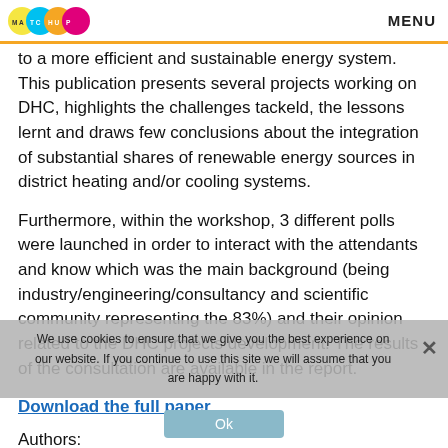MATCHUP MENU
to a more efficient and sustainable energy system. This publication presents several projects working on DHC, highlights the challenges tackeld, the lessons lernt and draws few conclusions about the integration of substantial shares of renewable energy sources in district heating and/or cooling systems.
Furthermore, within the workshop, 3 different polls were launched in order to interact with the attendants and know which was the main background (being industry/engineering/consultancy and scientific community representing the 83%) and their opinion related to the DHC projects development. The results of the consultation are available in the report.
Download the full paper.
Authors:
Vázquez, M.V.C.; Corscadden, J.; Marijuan, A.G.;